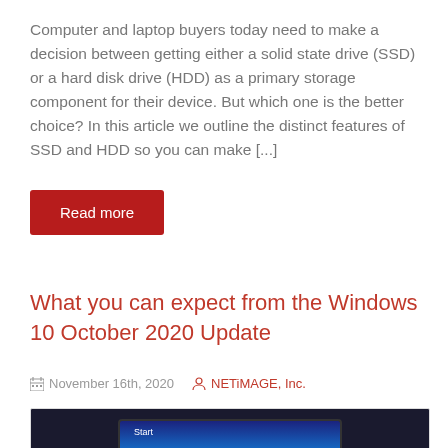Computer and laptop buyers today need to make a decision between getting either a solid state drive (SSD) or a hard disk drive (HDD) as a primary storage component for their device. But which one is the better choice? In this article we outline the distinct features of SSD and HDD so you can make [...]
Read more
What you can expect from the Windows 10 October 2020 Update
November 16th, 2020   NETiMAGE, Inc.
[Figure (photo): Laptop computer showing Windows 10 Start screen with taskbar icons visible at the bottom]